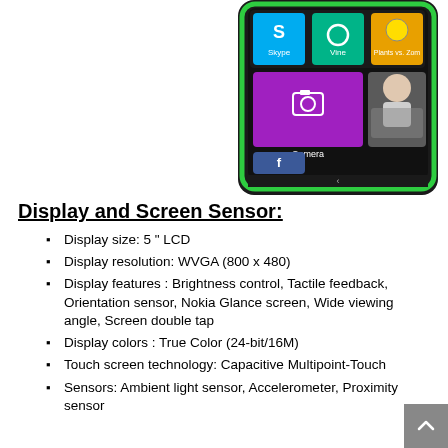[Figure (photo): Nokia smartphone showing home screen with Skype, Vine, Plants vs. Zombies apps, Camera tile, and Facebook tile. Green phone casing visible.]
Display and Screen Sensor:
Display size: 5 " LCD
Display resolution: WVGA (800 x 480)
Display features : Brightness control, Tactile feedback, Orientation sensor, Nokia Glance screen, Wide viewing angle, Screen double tap
Display colors : True Color (24-bit/16M)
Touch screen technology: Capacitive Multipoint-Touch
Sensors: Ambient light sensor, Accelerometer, Proximity sensor